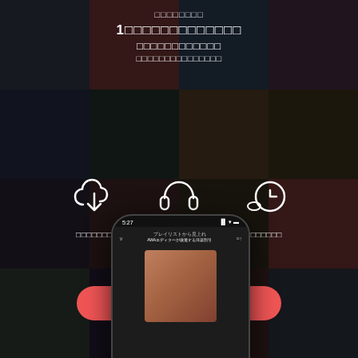[Figure (screenshot): Music streaming app promotional page with album art grid background, icons for download/listen/history features, CTA button, and phone mockup showing the app interface]
□□□□□□□□
1□□□□□□□□□□□□□
□□□□□□□□□□□□
□□□□□□□□□□□□□□□
□□□□□□□
□□□□
□□□□□□□
□□□□□□□□□□